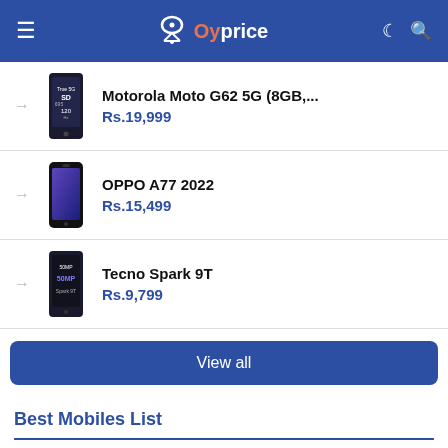Oyprice
Motorola Moto G62 5G (8GB,... Rs.19,999
OPPO A77 2022 Rs.15,499
Tecno Spark 9T Rs.9,799
View all
Best Mobiles List
Best Mobile Phones with 8GB RAM